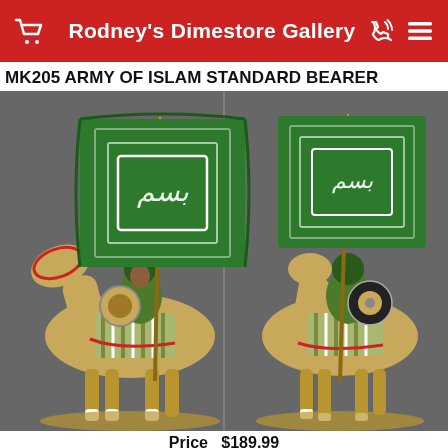Rodney's Dimestore Gallery
MK205 ARMY OF ISLAM STANDARD BEARER
[Figure (photo): Two views (front and back) of a painted miniature figurine depicting an Army of Islam standard bearer mounted on a horse, holding a tall green banner with Arabic calligraphy and a round shield. The horse is decorated with ornate trappings. Background is dark grey.]
Price  $189.99